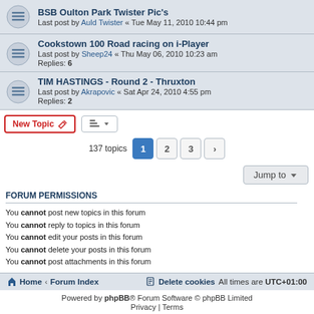BSB Oulton Park Twister Pic's — Last post by Auld Twister « Tue May 11, 2010 10:44 pm
Cookstown 100 Road racing on i-Player — Last post by Sheep24 « Thu May 06, 2010 10:23 am — Replies: 6
TIM HASTINGS - Round 2 - Thruxton — Last post by Akrapovic « Sat Apr 24, 2010 4:55 pm — Replies: 2
137 topics  1  2  3  >
Jump to
FORUM PERMISSIONS
You cannot post new topics in this forum
You cannot reply to topics in this forum
You cannot edit your posts in this forum
You cannot delete your posts in this forum
You cannot post attachments in this forum
Home • Forum Index | Delete cookies  All times are UTC+01:00
Powered by phpBB® Forum Software © phpBB Limited
Privacy | Terms